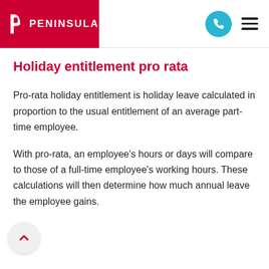PENINSULA
Holiday entitlement pro rata
Pro-rata holiday entitlement is holiday leave calculated in proportion to the usual entitlement of an average part-time employee.
With pro-rata, an employee's hours or days will compare to those of a full-time employee's working hours. These calculations will then determine how much annual leave the employee gains.